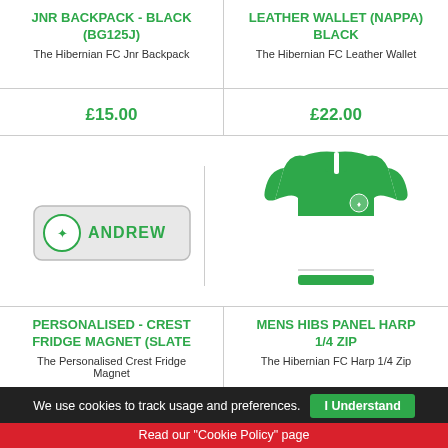JNR BACKPACK - BLACK (BG125J)
The Hibernian FC Jnr Backpack
LEATHER WALLET (NAPPA) BLACK
The Hibernian FC Leather Wallet
£15.00
£22.00
[Figure (illustration): Personalised crest fridge magnet showing ANDREW name tag with Hibernian FC crest]
[Figure (photo): Mens Hibs Panel Harp 1/4 Zip green and white sweatshirt with Hibernian FC crest]
PERSONALISED - CREST FRIDGE MAGNET (SLATE
The Personalised Crest Fridge Magnet
MENS HIBS PANEL HARP 1/4 ZIP
The Hibernian FC Harp 1/4 Zip
We use cookies to track usage and preferences.
I Understand
Read our "Cookie Policy" page